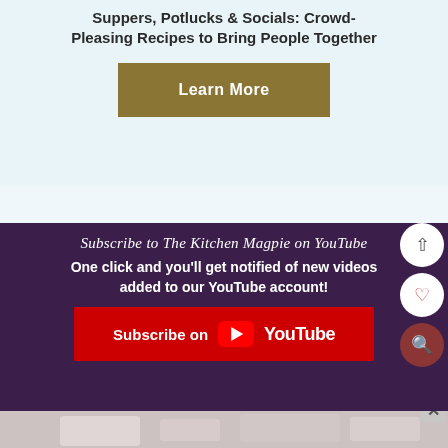Suppers, Potlucks & Socials: Crowd-Pleasing Recipes to Bring People Together
Learn More
Subscribe to The Kitchen Magpie on YouTube
One click and you'll get notified of new videos added to our YouTube account!
Subscribe on YouTube
[Figure (photo): Partial food/kitchen photo at bottom of page]